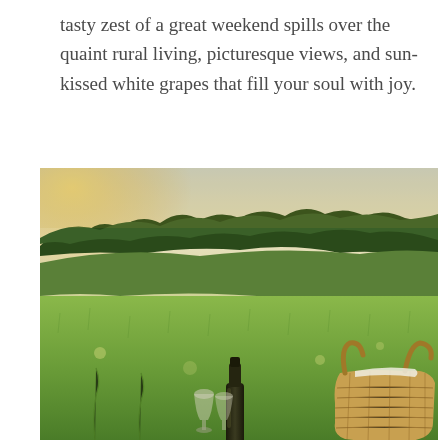tasty zest of a great weekend spills over the quaint rural living, picturesque views, and sun-kissed white grapes that fill your soul with joy.
[Figure (photo): A golden-hour outdoor scene of a lush green meadow with rolling hills and trees in the background. In the foreground, a wine bottle with glasses and a wicker picnic basket sit on the grass.]